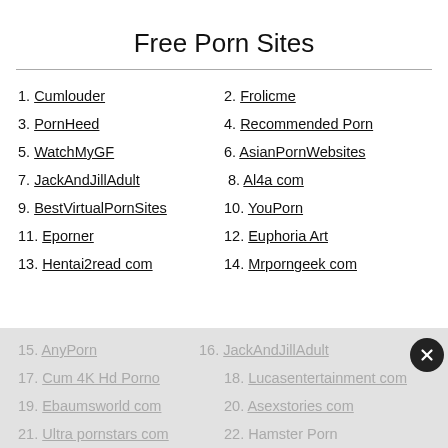Free Porn Sites
1. Cumlouder
2. Frolicme
3. PornHeed
4. Recommended Porn
5. WatchMyGF
6. AsianPornWebsites
7. JackAndJillAdult
8. Al4a com
9. BestVirtualPornSites
10. YouPorn
11. Eporner
12. Euphoria Art
13. Hentai2read com
14. Mrporngeek com
15. AnyPorn
16. JackAndJillAdult
17. Cum 4K Hd Porno
18. Lucasentertainment com
19. Ebaumsworld com
20. Asexstories com
21. Ultra pornstars com
22. Hamster Porn